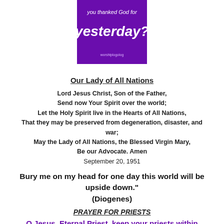[Figure (other): Purple banner image with white text reading 'you thanked God for yesterday?']
Our Lady of All Nations
Lord Jesus Christ, Son of the Father,
Send now Your Spirit over the world;
Let the Holy Spirit live in the Hearts of All Nations,
That they may be preserved from degeneration, disaster, and war;
May the Lady of All Nations, the Blessed Virgin Mary,
Be our Advocate. Amen
September 20, 1951
Bury me on my head for one day this world will be upside down." (Diogenes)
PRAYER FOR PRIESTS
O Jesus, Eternal Priest, keep your priests within